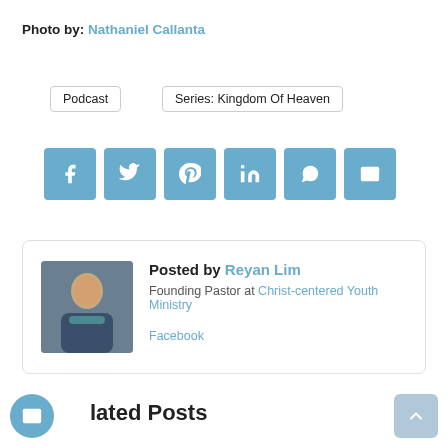Photo by: Nathaniel Callanta
Podcast
Series: Kingdom Of Heaven
[Figure (infographic): Social share buttons: Facebook, Twitter, Pinterest, LinkedIn, WhatsApp, Email]
Posted by Reyan Lim
Founding Pastor at Christ-centered Youth Ministry
Facebook
lated Posts